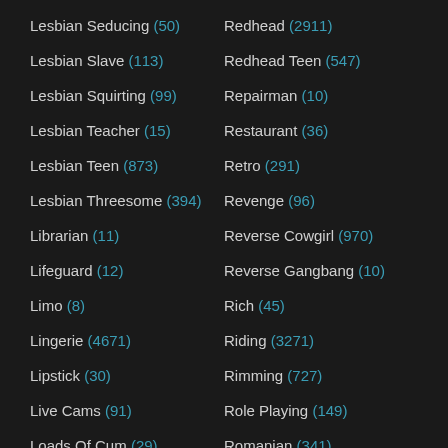Lesbian Seducing (50)
Redhead (2911)
Lesbian Slave (113)
Redhead Teen (547)
Lesbian Squirting (99)
Repairman (10)
Lesbian Teacher (15)
Restaurant (36)
Lesbian Teen (873)
Retro (291)
Lesbian Threesome (394)
Revenge (96)
Librarian (11)
Reverse Cowgirl (970)
Lifeguard (12)
Reverse Gangbang (10)
Limo (8)
Rich (45)
Lingerie (4671)
Riding (3271)
Lipstick (30)
Rimming (727)
Live Cams (91)
Role Playing (149)
Loads Of Cum (29)
Romanian (341)
Locker Room (31)
Romantic (282)
Lollipop (59)
Rough (1486)
Long Hair (105)
Rough Anal (529)